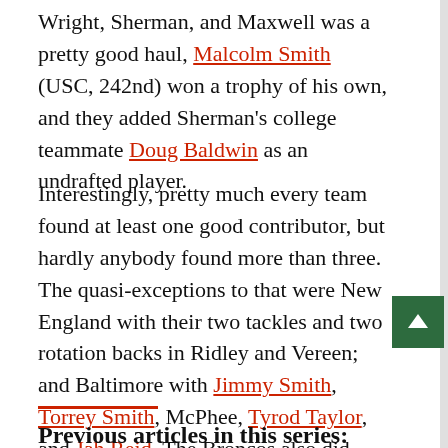Wright, Sherman, and Maxwell was a pretty good haul, Malcolm Smith (USC, 242nd) won a trophy of his own, and they added Sherman's college teammate Doug Baldwin as an undrafted player.
Interestingly, pretty much every team found at least one good contributor, but hardly anybody found more than three. The quasi-exceptions to that were New England with their two tackles and two rotation backs in Ridley and Vereen; and Baltimore with Jimmy Smith, Torrey Smith, McPhee, Tyrod Taylor, and Jah Reid. The Broncos also did pretty well with Miller, Rahim Moore, and Orlando Franklin the second round; Thomas in the fourth; and Virgil Green in the seventh, even if do not give them credit here for Harris.
Previous articles in this series: